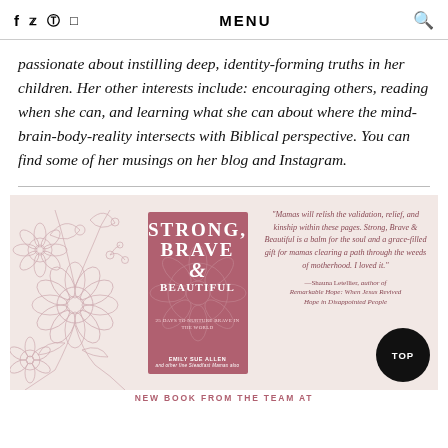f  y   pinterest  instagram  MENU  search
passionate about instilling deep, identity-forming truths in her children. Her other interests include: encouraging others, reading when she can, and learning what she can about where the mind-brain-body-reality intersects with Biblical perspective. You can find some of her musings on her blog and Instagram.
[Figure (illustration): Book advertisement banner with floral illustration on left, book cover for 'Strong, Brave & Beautiful' by Emily Sue Allen in center, and a quote on the right reading: 'Mamas will relish the validation, relief, and kinship within these pages. Strong, Brave & Beautiful is a balm for the soul and a grace-filled gift for mamas clearing a path through the weeds of motherhood. I loved it.' attributed to Shauna Letellier, author of Remarkable Hope: When Jesus Revived Hope in Disappointed People. A TOP button in the lower right. Bottom text: NEW BOOK FROM THE TEAM AT]